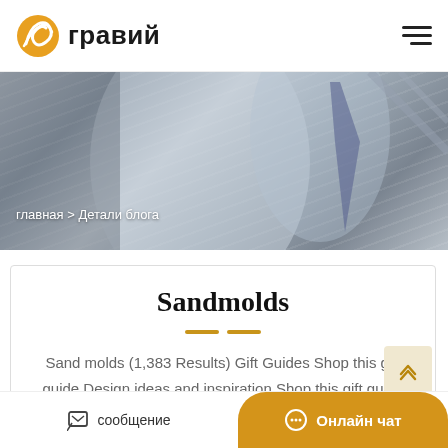гравий
[Figure (photo): Hero banner with background showing fabric/clothing texture, dark overlay. Breadcrumb navigation overlaid: главная > Детали блога]
главная > Детали блога
Sandmolds
Sand molds (1,383 Results) Gift Guides Shop this gift guide Design ideas and inspiration Shop this gift guide Everyday finds Shop this gift guide Price ($) Any price Under $25 $...
сообщение   Онлайн чат